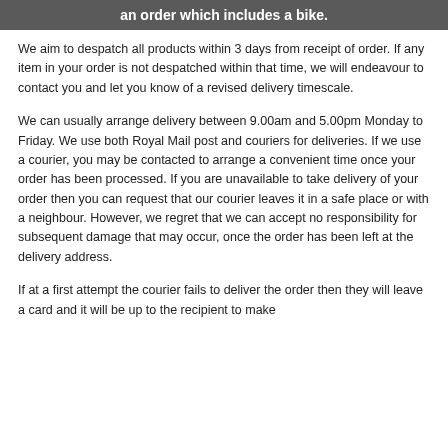an order which includes a bike.
We aim to despatch all products within 3 days from receipt of order. If any item in your order is not despatched within that time, we will endeavour to contact you and let you know of a revised delivery timescale.
We can usually arrange delivery between 9.00am and 5.00pm Monday to Friday. We use both Royal Mail post and couriers for deliveries. If we use a courier, you may be contacted to arrange a convenient time once your order has been processed. If you are unavailable to take delivery of your order then you can request that our courier leaves it in a safe place or with a neighbour. However, we regret that we can accept no responsibility for subsequent damage that may occur, once the order has been left at the delivery address.
If at a first attempt the courier fails to deliver the order then they will leave a card and it will be up to the recipient to make